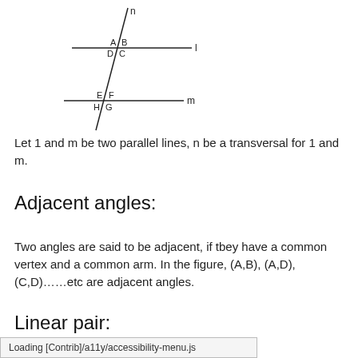[Figure (engineering-diagram): Two parallel horizontal lines l and m intersected by a transversal n. The intersection with line l is labeled with angles A, B, D, C. The intersection with line m is labeled with angles E, F, H, G.]
Let 1 and m be two parallel lines, n be a transversal for 1 and m.
Adjacent angles:
Two angles are said to be adjacent, if tbey have a common vertex and a common arm. In the figure, (A,B), (A,D), (C,D)……etc are adjacent angles.
Linear pair:
Loading [Contrib]/a11y/accessibility-menu.js